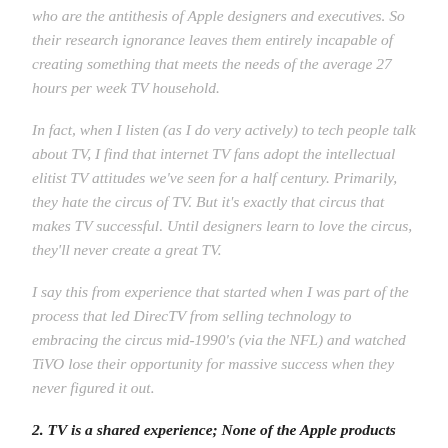who are the antithesis of Apple designers and executives. So their research ignorance leaves them entirely incapable of creating something that meets the needs of the average 27 hours per week TV household.
In fact, when I listen (as I do very actively) to tech people talk about TV, I find that internet TV fans adopt the intellectual elitist TV attitudes we've seen for a half century. Primarily, they hate the circus of TV. But it's exactly that circus that makes TV successful. Until designers learn to love the circus, they'll never create a great TV.
I say this from experience that started when I was part of the process that led DirecTV from selling technology to embracing the circus mid-1990's (via the NFL) and watched TiVO lose their opportunity for massive success when they never figured it out.
2. TV is a shared experience; None of the Apple products are a shared experience. Fundamentally, TV is